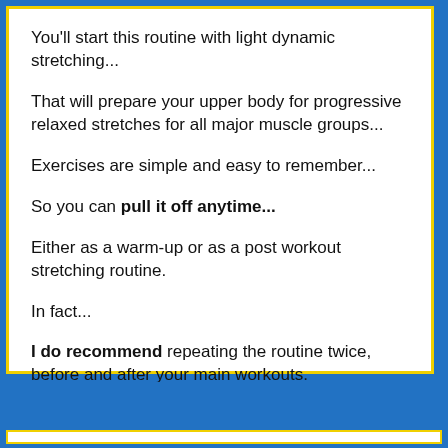You'll start this routine with light dynamic stretching...
That will prepare your upper body for progressive relaxed stretches for all major muscle groups...
Exercises are simple and easy to remember...
So you can pull it off anytime...
Either as a warm-up or as a post workout stretching routine.
In fact...
I do recommend repeating the routine twice, before and after your main workouts.